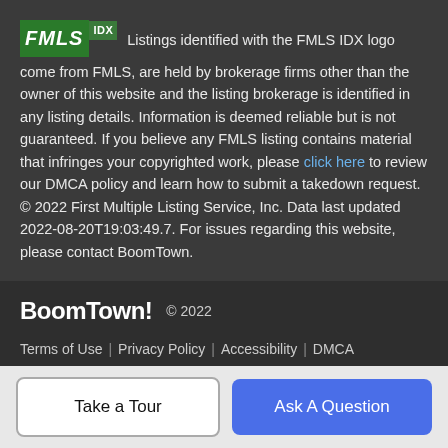Listings identified with the FMLS IDX logo come from FMLS, are held by brokerage firms other than the owner of this website and the listing brokerage is identified in any listing details. Information is deemed reliable but is not guaranteed. If you believe any FMLS listing contains material that infringes your copyrighted work, please click here to review our DMCA policy and learn how to submit a takedown request. © 2022 First Multiple Listing Service, Inc. Data last updated 2022-08-20T19:03:49.7. For issues regarding this website, please contact BoomTown.
BoomTown! © 2022
Terms of Use | Privacy Policy | Accessibility | DMCA | Listings Sitemap
Take a Tour
Ask A Question